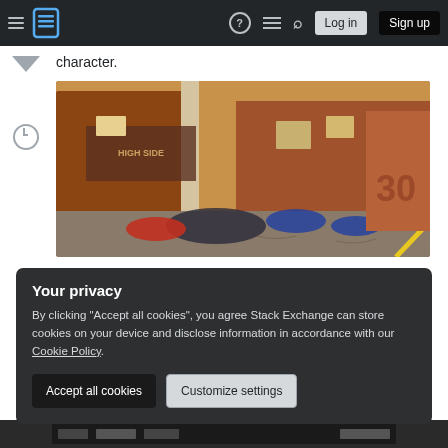Stack Exchange navigation bar with Log in and Sign up buttons
character.
[Figure (screenshot): Screenshot of a video game scene showing motorcycles/scooters piled against a red barn building labeled 'HIGH SIDE', with a yellow road stripe visible in the lower right.]
Your privacy
By clicking "Accept all cookies", you agree Stack Exchange can store cookies on your device and disclose information in accordance with our Cookie Policy.
Accept all cookies   Customize settings
[Figure (screenshot): Partial screenshot of another video game scene visible at bottom of page.]